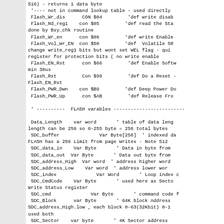S16) - returns 1 data byte
 '---- not in command lookup table - used directly
 Flash_Wr_dis      CON $04         'def write disab
 Flash_Rd_reg1    con $05         'def read the Sta
done by Bsy_chk routine
 Flash_Wr_en      con $06         'def write Enable
 Flash_Vol_Wr_EN  con $50         'def  Volatile SR
change write_reg1 bits but wont set WEL flag - qui
register for protection bits ( no write enable
 Flash_EN_Rst      con $66         'def Enable Softw
min 30us
 Flash_Rst         Con $99         'def Do a Reset -
Flash_EN_Rst
 Flash_PWR_Dwn    con $B9         'def Deep Power Do
 Flash_PWR_Up      con $AB         'def Release Fro

 ' ----------  FLASH varables -------------------------

 Data_Length    var word       ' table of data leng
length can be 256 so 0-255 byte = 256 total bytes
 SDC_buffer              Var Byte[256]  ' indexed da
FLASH has a 256 Limit from page Writes - Note 512
 SDC_data_in    Var Byte       ' Data in byte from
 SDC_data_out  Var Byte       ' Data out byte from
 SDC_address_High  Var word  ' address higher word
 SDC_address_Low    Var word  ' address lower wor
 SDC_index              Var Word       ' Loop index c
 SDC_CmdCode    Var Byte       ' used here as Secto
Write Status register
 SDC_cmd              Var Byte       ' command code f
 SDC_Block      var Byte       ' 64K block Address
SDC_address_High.low , each block 0-63(32Kbit) 0-1
used both
 SDC_Sector    var byte       ' 4K Sector address
SDC_address_Low.highbyte , each sector = 16 pages
- values = 0 -15
 SDC_Page      var byte       ' Page Address